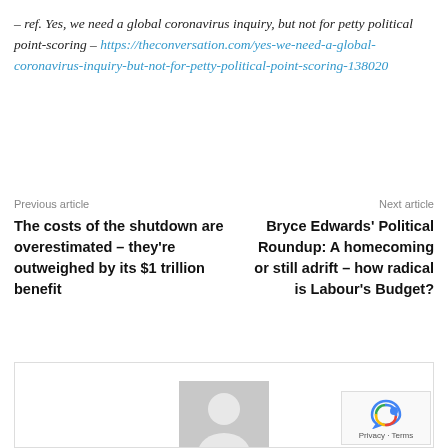– ref. Yes, we need a global coronavirus inquiry, but not for petty political point-scoring – https://theconversation.com/yes-we-need-a-global-coronavirus-inquiry-but-not-for-petty-political-point-scoring-138020
Previous article
Next article
The costs of the shutdown are overestimated – they're outweighed by its $1 trillion benefit
Bryce Edwards' Political Roundup: A homecoming or still adrift – how radical is Labour's Budget?
[Figure (photo): Profile placeholder image – grey silhouette of a person on grey background, inside a bordered box. A reCAPTCHA overlay with Privacy and Terms text appears in the bottom right corner.]